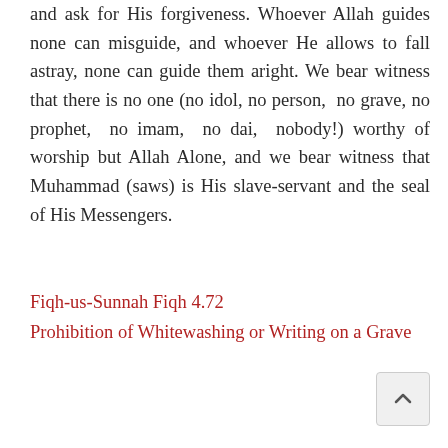and ask for His forgiveness. Whoever Allah guides none can misguide, and whoever He allows to fall astray, none can guide them aright. We bear witness that there is no one (no idol, no person, no grave, no prophet, no imam, no dai, nobody!) worthy of worship but Allah Alone, and we bear witness that Muhammad (saws) is His slave-servant and the seal of His Messengers.
Fiqh-us-Sunnah Fiqh 4.72
Prohibition of Whitewashing or Writing on a Grave